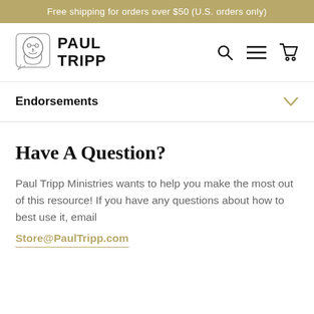Free shipping for orders over $50 (U.S. orders only)
[Figure (logo): Paul Tripp Ministries logo with stylized face icon and bold text PAUL TRIPP]
Endorsements
Have A Question?
Paul Tripp Ministries wants to help you make the most out of this resource! If you have any questions about how to best use it, email Store@PaulTripp.com